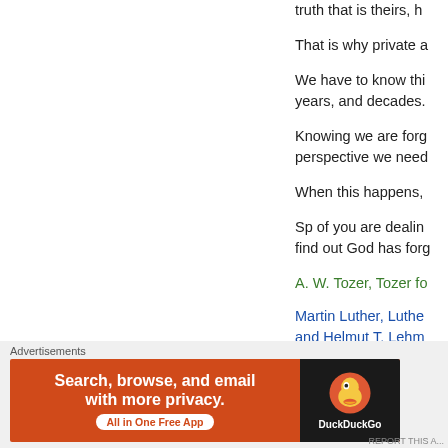truth that is theirs, h
That is why private a
We have to know thi... years, and decades.
Knowing we are forg... perspective we need
When this happens,
Sp of you are dealin... find out God has forg
A. W. Tozer, Tozer fo
Martin Luther, Luthe... and Helmut T. Lehm
Thomas Keating
Advertisements
[Figure (other): DuckDuckGo advertisement banner: orange background with text 'Search, browse, and email with more privacy. All in One Free App' and DuckDuckGo logo on dark background]